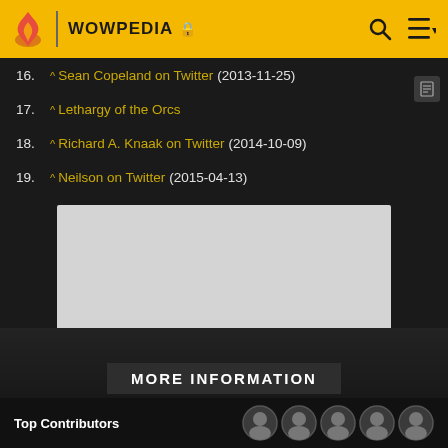WOWPEDIA
16. ^ Sean Copeland on Twitter (2013-11-25)
17. ^ Lethargy of the Orcs
18. ^ Richard A. Knaak on Twitter (2014-10-09)
19. ^ Neilson on Twitter (2015-04-13)
[Figure (other): Advertisement placeholder box]
ADVERTISEMENT
MORE INFORMATION
Top Contributors